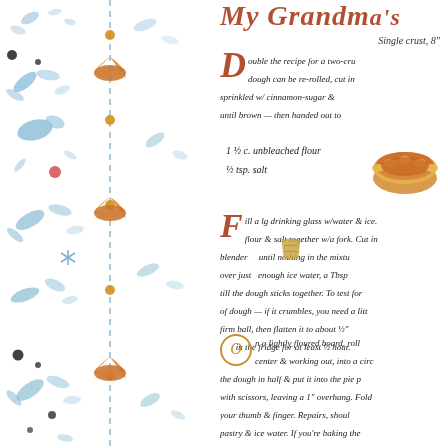[Figure (illustration): Left decorative border with watercolor blue leaves, flowers, berries, dots, and orange/gold circular dots along a vertical dashed blue line. Multiple pie slice illustrations along the dashed line.]
My Grandma's
Single crust, 8"
Double the recipe for a two-crust pie. Extra dough can be re-rolled, cut into squares, sprinkled w/ cinnamon-sugar & baked until brown - then handed out to
1 1/2 c. unbleached flour
1/2 tsp. salt
Fill a lg drinking glass w/water & ice. Mix flour & salt together w/a fork. Cut in blender until nothing in the mixture is over just enough ice water, a Tbsp a time, till the dough sticks together. To test for corr of dough - if it crumbles, you need a little firm ball, then flatten it to about 1/2" in the fridge for at least 1/2 hour.
On a lightly floured board, roll from center & working out, into a circle. Fold the dough in half & put it into the pie p with scissors, leaving a 1" overhang. Fold your thumb & finger. Repairs, shoul pastry & ice water. If you're baking the